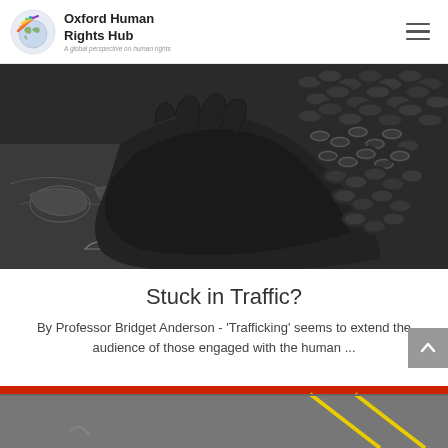Oxford Human Rights Hub — A global perspective on human rights
[Figure (photo): Black and white close-up photo of a dark-skinned hand resting on a surface with a world map illustration, with heavy metal chains wrapped around the wrist — symbolizing human trafficking or modern slavery.]
Stuck in Traffic?
By Professor Bridget Anderson - 'Trafficking' seems to extend the audience of those engaged with the human ...
[Figure (photo): Partial bottom strip showing a road/parking area with yellow markings and a red kerb, cropped at the bottom of the page.]